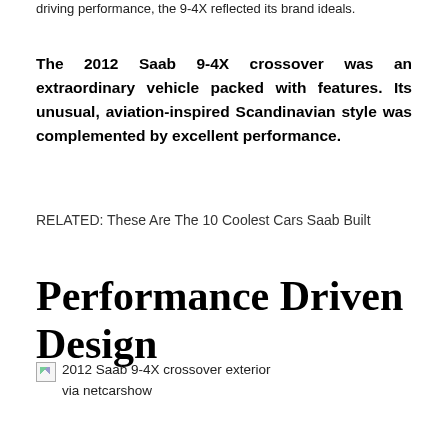driving performance, the 9-4X reflected its brand ideals.
The 2012 Saab 9-4X crossover was an extraordinary vehicle packed with features. Its unusual, aviation-inspired Scandinavian style was complemented by excellent performance.
RELATED: These Are The 10 Coolest Cars Saab Built
Performance Driven Design
[Figure (photo): 2012 Saab 9-4X crossover exterior via netcarshow (broken/missing image)]